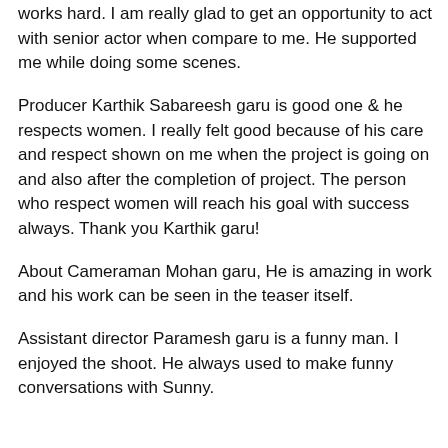works hard. I am really glad to get an opportunity to act with senior actor when compare to me. He supported me while doing some scenes.
Producer Karthik Sabareesh garu is good one & he respects women. I really felt good because of his care and respect shown on me when the project is going on and also after the completion of project. The person who respect women will reach his goal with success always. Thank you Karthik garu!
About Cameraman Mohan garu, He is amazing in work and his work can be seen in the teaser itself.
Assistant director Paramesh garu is a funny man. I enjoyed the shoot. He always used to make funny conversations with Sunny.